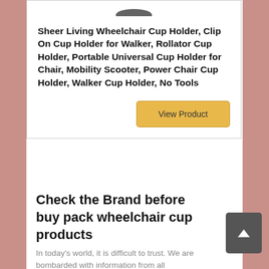Sheer Living Wheelchair Cup Holder, Clip On Cup Holder for Walker, Rollator Cup Holder, Portable Universal Cup Holder for Chair, Mobility Scooter, Power Chair Cup Holder, Walker Cup Holder, No Tools
View Product
Check the Brand before buy pack wheelchair cup products
In today's world, it is difficult to trust. We are bombarded with information from all